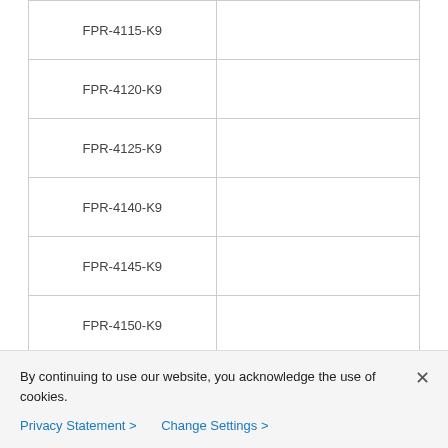|  |  |
| --- | --- |
| FPR-4115-K9 |  |
| FPR-4120-K9 |  |
| FPR-4125-K9 |  |
| FPR-4140-K9 |  |
| FPR-4145-K9 |  |
| FPR-4150-K9 |  |
Defect Information
| Defect ID | Headline |
| --- | --- |
| CSCvx | M500IT Model Solid State Drives on 4100/9300 |
By continuing to use our website, you acknowledge the use of cookies.
Privacy Statement > Change Settings >